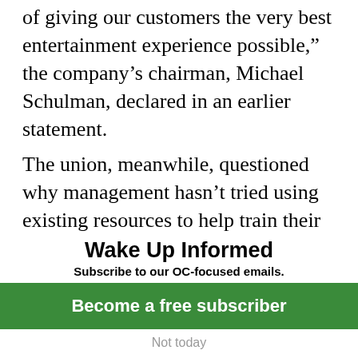of giving our customers the very best entertainment experience possible,” the company’s chairman, Michael Schulman, declared in an earlier statement.
The union, meanwhile, questioned why management hasn’t tried using existing resources to help train their longtime workers.
Union leaders pointed to the nonprofit
Wake Up Informed
Subscribe to our OC-focused emails.
Become a free subscriber
Not today